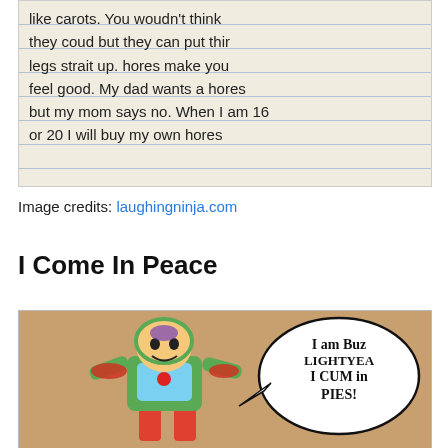[Figure (photo): Child's handwritten text on lined paper about horses: 'like carots. You woudn't think they coud but they can put thir legs strait up. hores make you feel good. My dad wants a hores but my mom says no. When I am 16 or 20 I will buy my own hores']
Image credits: laughingninja.com
I Come In Peace
[Figure (photo): Child's crayon drawing of Buzz Lightyear with a speech bubble saying 'I am Buzz Lightyear I CUM in PIES!']